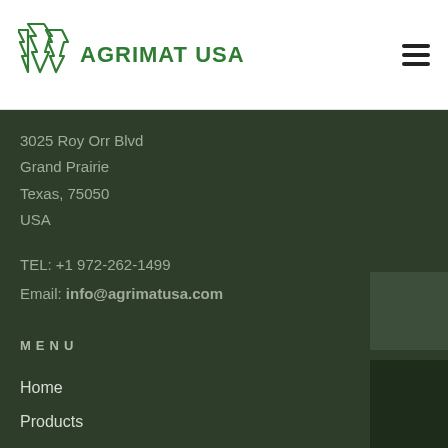AGRIMAT USA
3025 Roy Orr Blvd
Grand Prairie
Texas, 75050
USA
TEL: +1 972-262-1499
Email: info@agrimatusa.com
MENU
Home
Products
About
SUPPORT